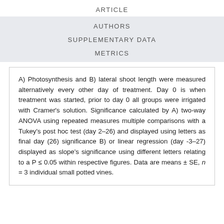ARTICLE
AUTHORS
SUPPLEMENTARY DATA
METRICS
A) Photosynthesis and B) lateral shoot length were measured alternatively every other day of treatment. Day 0 is when treatment was started, prior to day 0 all groups were irrigated with Cramer's solution. Significance calculated by A) two-way ANOVA using repeated measures multiple comparisons with a Tukey's post hoc test (day 2–26) and displayed using letters as final day (26) significance B) or linear regression (day -3–27) displayed as slope's significance using different letters relating to a P ≤ 0.05 within respective figures. Data are means ± SE, n = 3 individual small potted vines.